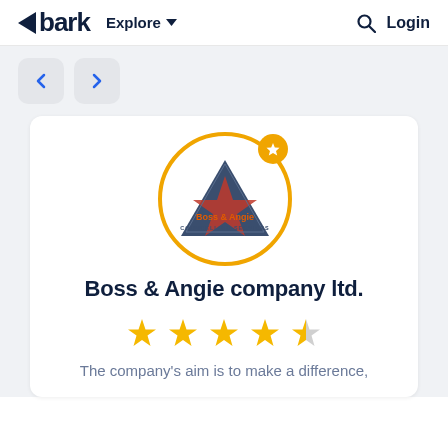bark  Explore  Login
[Figure (logo): Boss & Angie Counselling Services logo inside an orange circle with a star badge]
Boss & Angie company ltd.
[Figure (other): 4-star rating display with gold stars (approximately 4 out of 5)]
The company's aim is to make a difference,